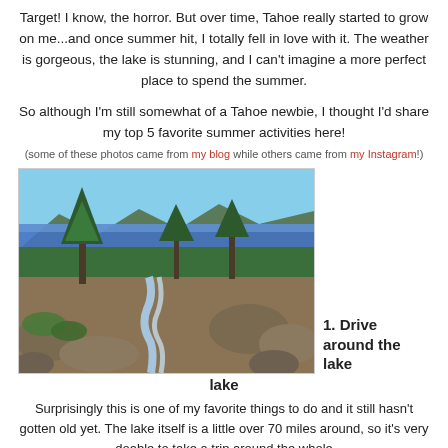Target! I know, the horror. But over time, Tahoe really started to grow on me...and once summer hit, I totally fell in love with it. The weather is gorgeous, the lake is stunning, and I can't imagine a more perfect place to spend the summer.
So although I'm still somewhat of a Tahoe newbie, I thought I'd share my top 5 favorite summer activities here!
(some of these photos came from my blog while others came from my Instagram!)
[Figure (photo): Scenic view of Lake Tahoe from above with pine trees, rocky terrain, a waterfall/stream in the foreground, and the blue lake and forested mountains in the background.]
1. Drive around the lake
Surprisingly this is one of my favorite things to do and it still hasn't gotten old yet. The lake itself is a little over 70 miles around, so it's very doable to take a trip around the whole